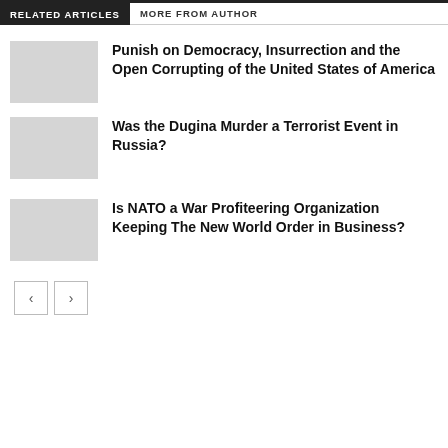RELATED ARTICLES   MORE FROM AUTHOR
Punish on Democracy, Insurrection and the Open Corrupting of the United States of America
Was the Dugina Murder a Terrorist Event in Russia?
Is NATO a War Profiteering Organization Keeping The New World Order in Business?